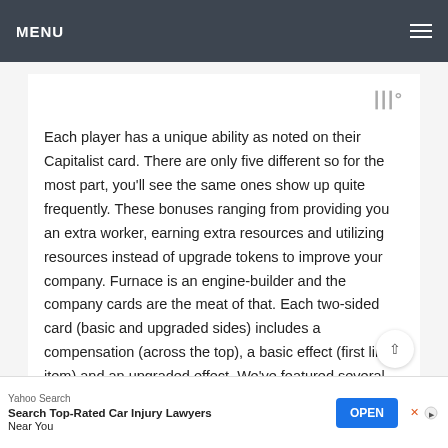MENU
[Figure (logo): Stylized triple-bar logo mark with degree symbol in grey]
Each player has a unique ability as noted on their Capitalist card. There are only five different so for the most part, you'll see the same ones show up quite frequently. These bonuses ranging from providing you an extra worker, earning extra resources and utilizing resources instead of upgrade tokens to improve your company. Furnace is an engine-builder and the company cards are the meat of that. Each two-sided card (basic and upgraded sides) includes a compensation (across the top), a basic effect (first line item) and an upgraded effect. We've featured several engine-building
[Figure (screenshot): Advertisement bar: Yahoo Search - Search Top-Rated Car Injury Lawyers Near You with OPEN button]